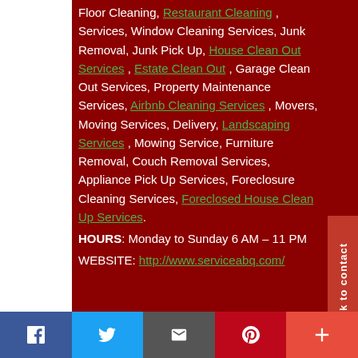Floor Cleaning, Restaurant Cleaning , Services, Window Cleaning Services, Junk Removal, Junk Pick Up, House Clean Out Services , Estate Clean Out , Garage Clean Out Services, Property Maintenance Services, Airbnb Cleaning Services , Movers, Moving Services, Delivery, Landscaping Services , Mowing Service, Furniture Removal, Couch Removal Services, Appliance Pick Up Services, Foreclosure Cleaning Services, Foreclosed House Clean Up Services.
HOURS: Monday to Sunday 6 AM – 11 PM
WEBSITE: http://www.serviceabq.com/